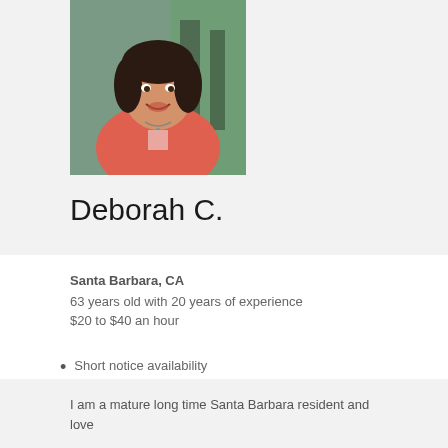[Figure (photo): Portrait photo of a smiling woman with dark hair wearing a pink/coral cardigan, seated against a blurred background]
Deborah C.
Santa Barbara, CA
63 years old with 20 years of experience
$20 to $40 an hour
Short notice availability
I am a mature long time Santa Barbara resident and love